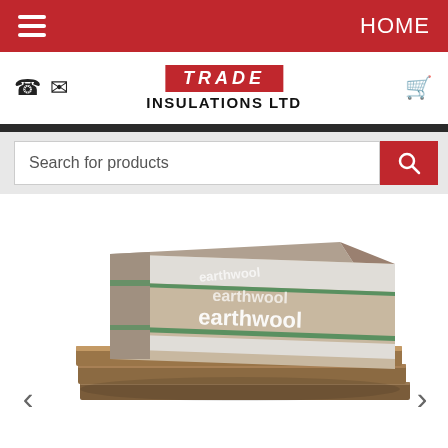HOME
[Figure (logo): TRADE INSULATIONS LTD logo with red banner and italic text]
Search for products
[Figure (photo): Earthwool insulation product - a compressed batt package with green and white branding, alongside flat mineral wool insulation slabs stacked below]